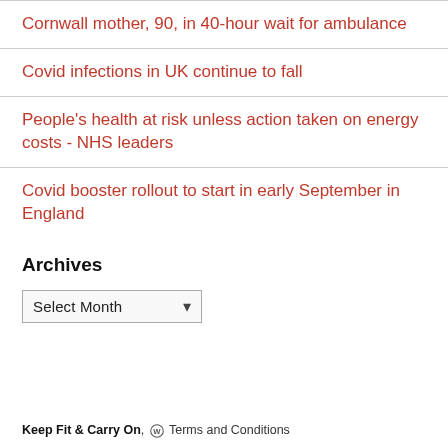Cornwall mother, 90, in 40-hour wait for ambulance
Covid infections in UK continue to fall
People's health at risk unless action taken on energy costs - NHS leaders
Covid booster rollout to start in early September in England
Archives
Select Month
Keep Fit & Carry On, Ⓦ Terms and Conditions